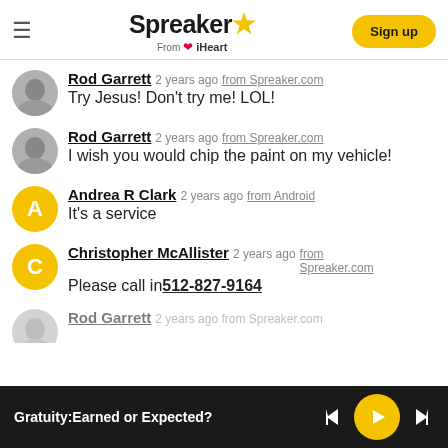Spreaker from iHeart — Sign up
Rod Garrett 2 years ago from Spreaker.com
Try Jesus! Don't try me! LOL!
Rod Garrett 2 years ago from Spreaker.com
I wish you would chip the paint on my vehicle!
Andrea R Clark 2 years ago from Android
It's a service
Christopher McAllister 2 years ago from Spreaker.com
Please call in 512-827-9164
Rod Garrett 2 years ago from Spreaker.com
Gratuity:Earned or Expected?